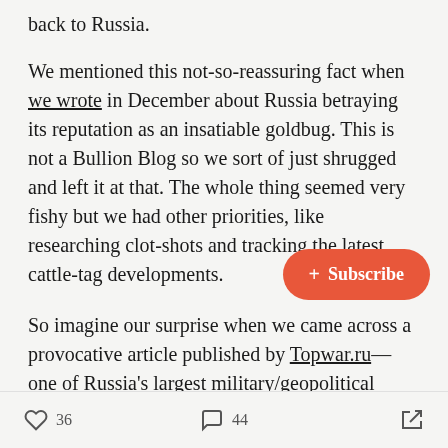back to Russia.
We mentioned this not-so-reassuring fact when we wrote in December about Russia betraying its reputation as an insatiable goldbug. This is not a Bullion Blog so we sort of just shrugged and left it at that. The whole thing seemed very fishy but we had other priorities, like researching clot-shots and tracking the latest cattle-tag developments.
So imagine our surprise when we came across a provocative article published by Topwar.ru—one of Russia's largest military/geopolitical [sites,] explaining how Russia has essentially [pulled off a] massive gold heist.
The article is available in English although it looks like
36   44